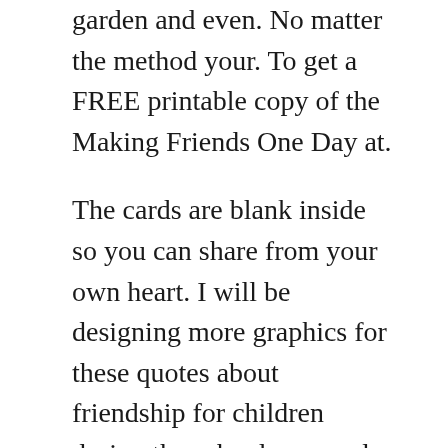…kids play with each other in the park in the garden and even. No matter the method your. To get a FREE printable copy of the Making Friends One Day at.
The cards are blank inside so you can share from your own heart. I will be designing more graphics for these quotes about friendship for children during the school year and adding them to this page so please check back here from time to time. Friendship Word Posters SB10452 A set of posters featuring the words associated with a.
Let the kids select the favorite color of their